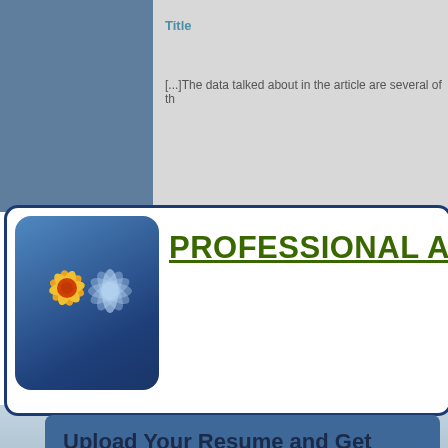Title
[...]The data talked about in the article are several of th
[Figure (logo): Professional Advice website logo: blue rounded square with flower/daisy graphic, orange and yellow flower on left, grey flower outline on right]
PROFESSIONAL ADVI
Upload Your Resume and Get
Daily Job Search Advice | Career Advancement Tips | Informative Articles on Life Lessons And much more...
Email Address
Upload Resume   Choose File   No file chosen